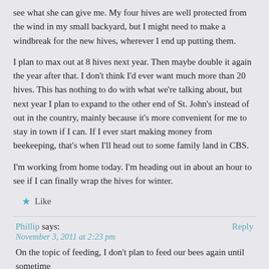see what she can give me. My four hives are well protected from the wind in my small backyard, but I might need to make a windbreak for the new hives, wherever I end up putting them.
I plan to max out at 8 hives next year. Then maybe double it again the year after that. I don't think I'd ever want much more than 20 hives. This has nothing to do with what we're talking about, but next year I plan to expand to the other end of St. John's instead of out in the country, mainly because it's more convenient for me to stay in town if I can. If I ever start making money from beekeeping, that's when I'll head out to some family land in CBS.
I'm working from home today. I'm heading out in about an hour to see if I can finally wrap the hives for winter.
★ Like
Phillip says:
November 3, 2011 at 2:23 pm
On the topic of feeding, I don't plan to feed our bees again until sometime